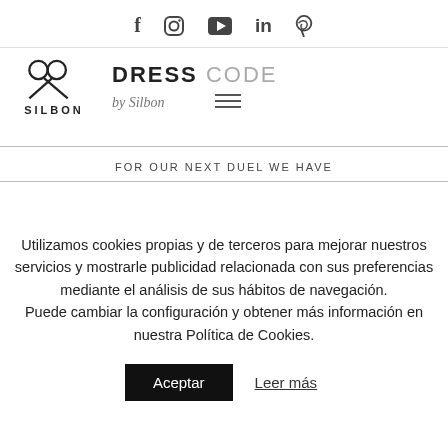f  [instagram]  [youtube]  in  p — social icons
[Figure (logo): Silbon scissors logo with SILBON wordmark below]
DRESS CODE by Silbon
FOR OUR NEXT DUEL WE HAVE
Utilizamos cookies propias y de terceros para mejorar nuestros servicios y mostrarle publicidad relacionada con sus preferencias mediante el análisis de sus hábitos de navegación. Puede cambiar la configuración y obtener más información en nuestra Política de Cookies.
Aceptar  Leer más